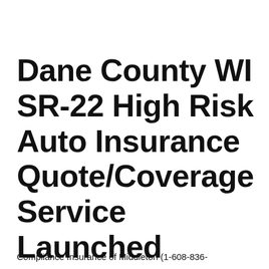Dane County WI SR-22 High Risk Auto Insurance Quote/Coverage Service Launched
Compliance Insurance of Middleton (1-608-836-